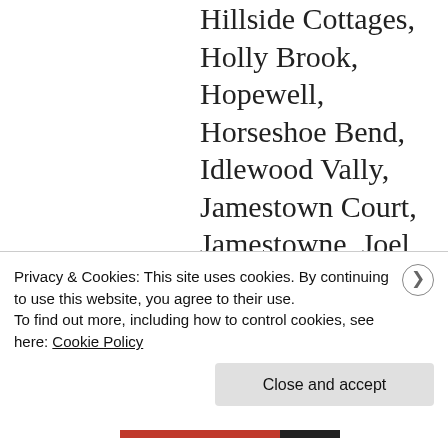Hillside Cottages, Holly Brook, Hopewell, Horseshoe Bend, Idlewood Vally, Jamestown Court, Jamestowne, Joel Chandler Harris Homes, Kimberly, Knox Landing, Lake Island Estates, Lake Union Hill, Lake Villas, Laurel Brook, Laurel Grove, Laurel Woods, Lenox Park, Lester, Limetree, Linwood, Litchfield Hundred,
Privacy & Cookies: This site uses cookies. By continuing to use this website, you agree to their use.
To find out more, including how to control cookies, see here: Cookie Policy